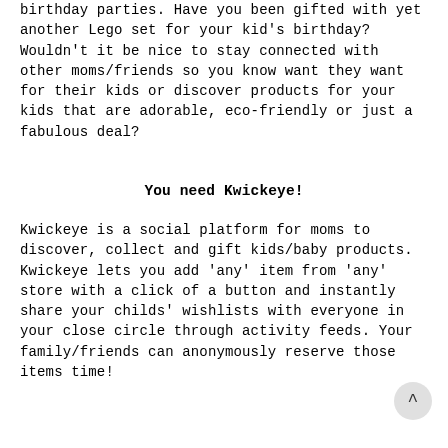birthday parties. Have you been gifted with yet another Lego set for your kid's birthday? Wouldn't it be nice to stay connected with other moms/friends so you know want they want for their kids or discover products for your kids that are adorable, eco-friendly or just a fabulous deal?
You need Kwickeye!
Kwickeye is a social platform for moms to discover, collect and gift kids/baby products. Kwickeye lets you add 'any' item from 'any' store with a click of a button and instantly share your childs' wishlists with everyone in your close circle through activity feeds. Your family/friends can anonymously reserve those items time!